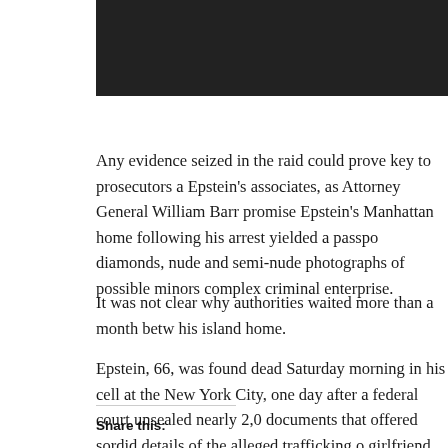Any evidence seized in the raid could prove key to prosecutors a Epstein's associates, as Attorney General William Barr promise Epstein's Manhattan home following his arrest yielded a passpo diamonds, nude and semi-nude photographs of possible minors complex criminal enterprise.
It was not clear why authorities waited more than a month betw his island home.
Epstein, 66, was found dead Saturday morning in his cell at the New York City, one day after a federal court unsealed nearly 2,0 documents that offered sordid details of the alleged trafficking o girlfriend and purported madam, Ghislaine Maxwell.
Share this: